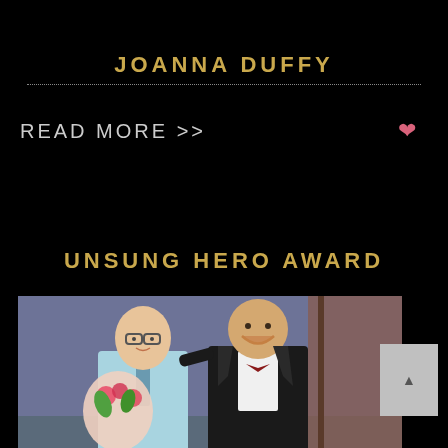JOANNA DUFFY
READ MORE >>
UNSUNG HERO AWARD
[Figure (photo): Two men posing together at an awards event. The man on the left is bald, wearing glasses and a light blue patterned shirt with a tie, holding a bouquet of tulips. The man on the right is wearing a black suit with a bow tie and a white shirt, smiling broadly.]